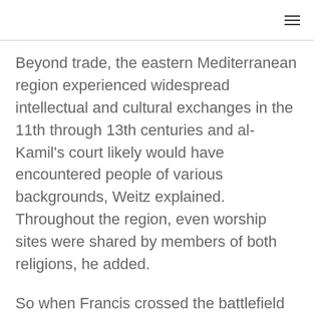Beyond trade, the eastern Mediterranean region experienced widespread intellectual and cultural exchanges in the 11th through 13th centuries and al-Kamil's court likely would have encountered people of various backgrounds, Weitz explained. Throughout the region, even worship sites were shared by members of both religions, he added.
So when Francis crossed the battlefield and was taken to al-Kamil by his troops, it was an opportunity for both men to learn from each other.
Undertaking such an encounter, it's unlikely St.